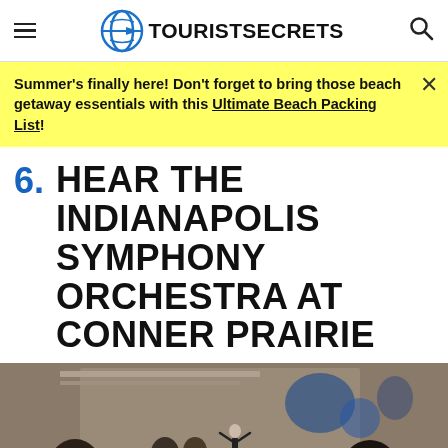TOURIST SECRETS
Summer's finally here! Don't forget to bring those beach getaway essentials with this Ultimate Beach Packing List!
6. HEAR THE INDIANAPOLIS SYMPHONY ORCHESTRA AT CONNER PRAIRIE
[Figure (photo): Orchestra musicians playing string instruments on stage with a conductor in the background, in a concert hall with blue lighting]